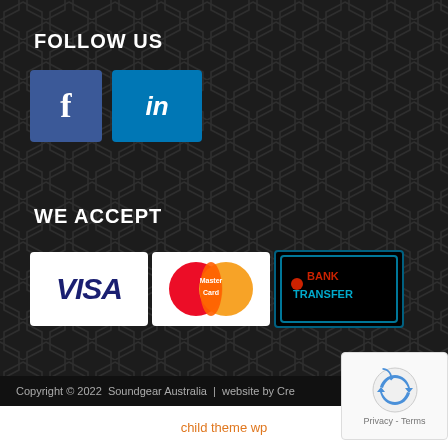FOLLOW US
[Figure (logo): Facebook icon (blue square with white f) and LinkedIn icon (blue rectangle with white 'in')]
WE ACCEPT
[Figure (logo): Payment method logos: VISA, MasterCard, and Bank Transfer]
Copyright © 2022  Soundgear Australia  |  website by Cre...
child theme wp
[Figure (other): reCAPTCHA widget with Privacy - Terms text]